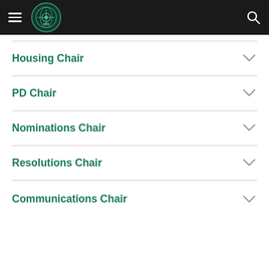[Figure (logo): Navigation header bar with hamburger menu icon on left, circular IATA-style logo in center-left, and search icon on right, on dark background]
Housing Chair
PD Chair
Nominations Chair
Resolutions Chair
Communications Chair